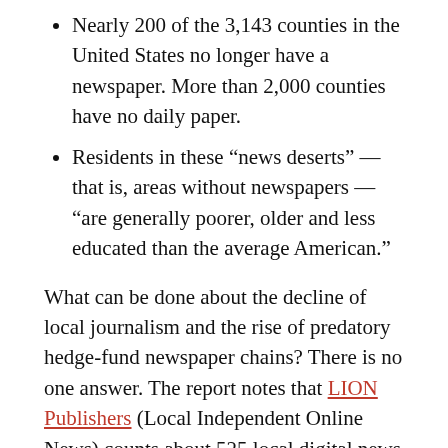Nearly 200 of the 3,143 counties in the United States no longer have a newspaper. More than 2,000 counties have no daily paper.
Residents in these “news deserts” — that is, areas without newspapers — “are generally poorer, older and less educated than the average American.”
What can be done about the decline of local journalism and the rise of predatory hedge-fund newspaper chains? There is no one answer. The report notes that LION Publishers (Local Independent Online News) counts about 525 local digital news operations, both for-profit and nonprofit. Some, such as the New Haven Independent, The Batavian of Batavia, New York, and VT Digger, a statewide project based in Montpelier,